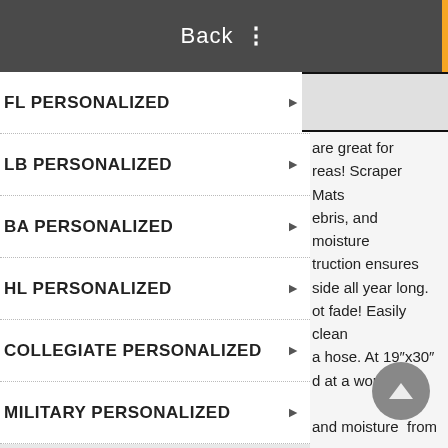Back
FL PERSONALIZED
LB PERSONALIZED
BA PERSONALIZED
HL PERSONALIZED
COLLEGIATE PERSONALIZED
MILITARY PERSONALIZED
NAVY - SEABEES
ARMY WEST POINT
are great for reas! Scraper Mats ebris, and moisture truction ensures side all year long. ot fade! Easily clean a hose. At 19"x30" d at a workbench and moisture from n place under the walking